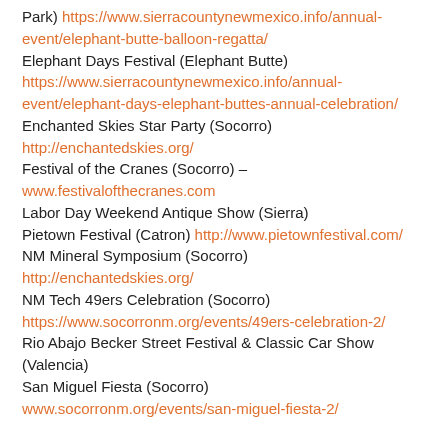Park) https://www.sierracountynewmexico.info/annual-event/elephant-butte-balloon-regatta/
Elephant Days Festival (Elephant Butte) https://www.sierracountynewmexico.info/annual-event/elephant-days-elephant-buttes-annual-celebration/
Enchanted Skies Star Party (Socorro) http://enchantedskies.org/
Festival of the Cranes (Socorro) – www.festivalofthecranes.com
Labor Day Weekend Antique Show (Sierra)
Pietown Festival (Catron) http://www.pietownfestival.com/
NM Mineral Symposium (Socorro) http://enchantedskies.org/
NM Tech 49ers Celebration (Socorro) https://www.socorronm.org/events/49ers-celebration-2/
Rio Abajo Becker Street Festival & Classic Car Show (Valencia)
San Miguel Fiesta (Socorro) www.socorronm.org/events/san-miguel-fiesta-2/